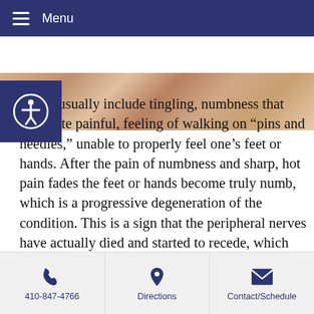Menu
[Figure (photo): Close-up photo of hands or feet skin, warm skin tones]
ptoms usually include tingling, numbness that can quite painful, feeling of walking on “pins and needles,” unable to properly feel one’s feet or hands. After the pain of numbness and sharp, hot pain fades the feet or hands become truly numb, which is a progressive degeneration of the condition. This is a sign that the peripheral nerves have actually died and started to recede, which presents as true numbness creeping upwards, for example from the feet up the legs to even the groin. Or from the hands towards the shoulder. The exact level of severity of the Neuropathy condition is assessed by a neurological exam called the
410-847-4766  |  Directions  |  Contact/Schedule